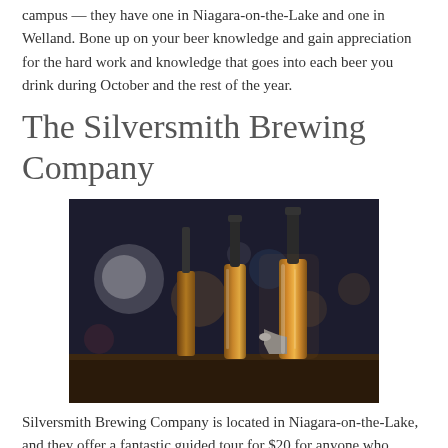campus — they have one in Niagara-on-the-Lake and one in Welland. Bone up on your beer knowledge and gain appreciation for the hard work and knowledge that goes into each beer you drink during October and the rest of the year.
The Silversmith Brewing Company
[Figure (photo): Close-up photograph of beer tap handles at a bar, with blurred bokeh lights in the background. The taps are chrome and copper colored, photographed in a dark bar setting.]
Silversmith Brewing Company is located in Niagara-on-the-Lake, and they offer a fantastic guided tour for $20 for anyone who wants to learn more about their take on the